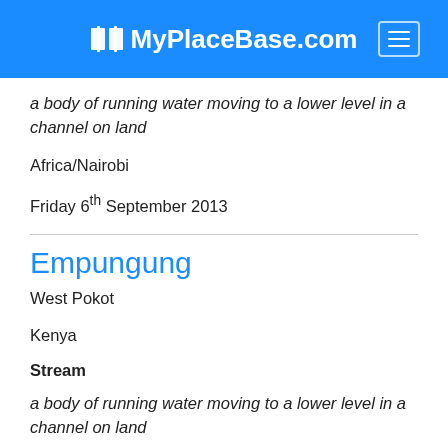MyPlaceBase.com
a body of running water moving to a lower level in a channel on land
Africa/Nairobi
Friday 6th September 2013
Empungung
West Pokot
Kenya
Stream
a body of running water moving to a lower level in a channel on land